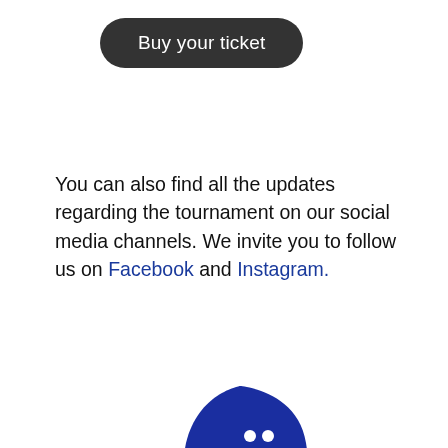Buy your ticket
You can also find all the updates regarding the tournament on our social media channels. We invite you to follow us on Facebook and Instagram.
[Figure (illustration): Blue padel racket icon/logo illustration]